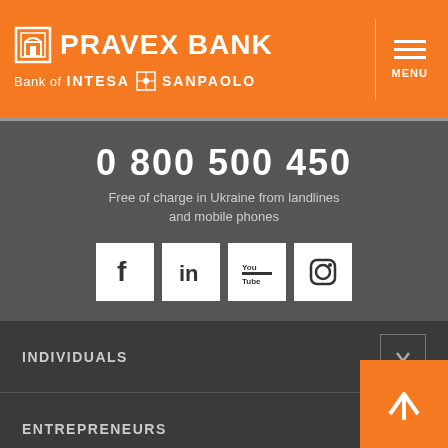[Figure (logo): Pravex Bank logo with Intesa Sanpaolo branding on orange header]
PRAVEX BANK - Bank of INTESA SANPAOLO
0 800 500 450
Free of charge in Ukraine from landlines and mobile phones
[Figure (other): Social media icons: Facebook, LinkedIn, YouTube, Instagram]
INDIVIDUALS
ENTREPRENEURS
SMALL AND MEDIUM ENTERPRISE
CORPORATE CLIENTS